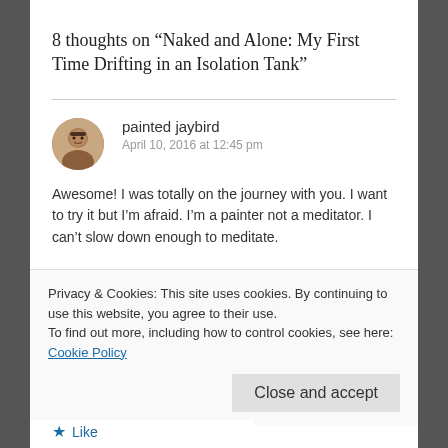8 thoughts on “Naked and Alone: My First Time Drifting in an Isolation Tank”
painted jaybird
April 10, 2016 at 12:45 pm
Awesome! I was totally on the journey with you. I want to try it but I’m afraid. I’m a painter not a meditator. I can’t slow down enough to meditate.
Privacy & Cookies: This site uses cookies. By continuing to use this website, you agree to their use.
To find out more, including how to control cookies, see here: Cookie Policy
Close and accept
Like